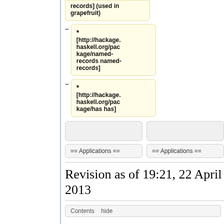* [http://hackage.haskell.org/package/named-records named-records] (used in grapefruit)
* [http://hackage.haskell.org/package/named-records named-records]
* [http://hackage.haskell.org/package/has has]
== Applications ==
== Applications ==
Revision as of 19:21, 22 April 2013
Contents hide